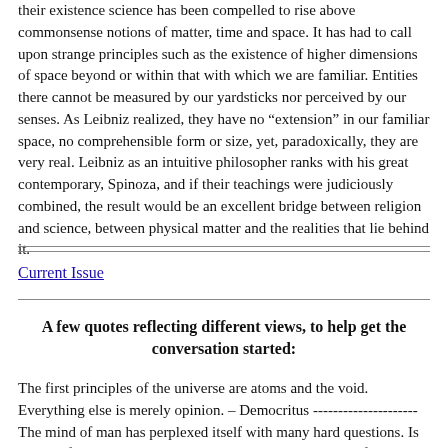their existence science has been compelled to rise above commonsense notions of matter, time and space. It has had to call upon strange principles such as the existence of higher dimensions of space beyond or within that with which we are familiar. Entities there cannot be measured by our yardsticks nor perceived by our senses. As Leibniz realized, they have no “extension” in our familiar space, no comprehensible form or size, yet, paradoxically, they are very real. Leibniz as an intuitive philosopher ranks with his great contemporary, Spinoza, and if their teachings were judiciously combined, the result would be an excellent bridge between religion and science, between physical matter and the realities that lie behind it.
Current Issue
A few quotes reflecting different views, to help get the conversation started:
The first principles of the universe are atoms and the void. Everything else is merely opinion. – Democritus -------------------- The mind of man has perplexed itself with many hard questions. Is space infinite, and in what sense? Is the material world infinite in